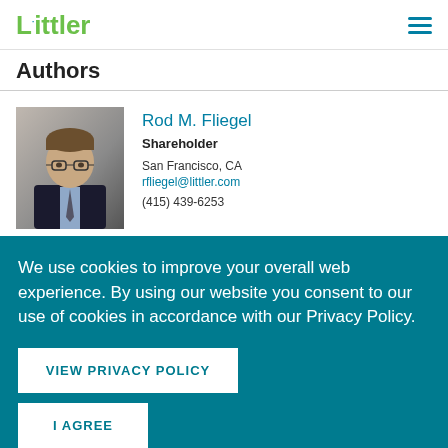Littler
Authors
[Figure (photo): Professional headshot of Rod M. Fliegel, a man in a dark suit with glasses]
Rod M. Fliegel
Shareholder
San Francisco, CA
rfliegel@littler.com
(415) 439-6253
We use cookies to improve your overall web experience. By using our website you consent to our use of cookies in accordance with our Privacy Policy.
VIEW PRIVACY POLICY
I AGREE